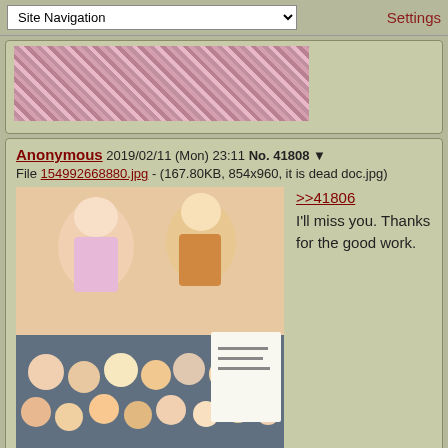Site Navigation | Settings
[Figure (photo): Partial view of a pixelated/blurred face image at top of page]
Anonymous 2019/02/11 (Mon) 23:11 No. 41808 ▼
File 154992668880.jpg - (167.80KB, 854x960, it is dead doc.jpg)
[Figure (illustration): Cartoon/anime style illustration composite image]
>>41806
I'll miss you. Thanks for the good work.
asdasd Darker 2019/07/13 (Sat) 21:11 No. 42172 ▼
asdasd
A Parade Comes to a Head, thread
2 !foOIREAVIE 2019/04/09 (Tue) 23:11 No. 41996 ▼